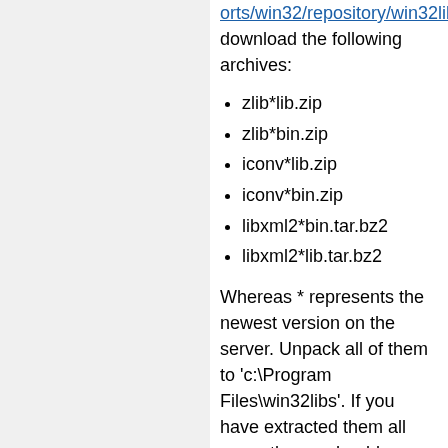orts/win32/repository/win32libs/ download the following archives:
zlib*lib.zip
zlib*bin.zip
iconv*lib.zip
iconv*bin.zip
libxml2*bin.tar.bz2
libxml2*lib.tar.bz2
Whereas * represents the newest version on the server. Unpack all of them to 'c:\Program Files\win32libs'. If you have extracted them all correctly you should see inside of 'c:\Program Files\win32libs' "include, bin, lib, and manifest" folders. Note that you may also download the dbus library from there, but if you do it will not automatically spawn